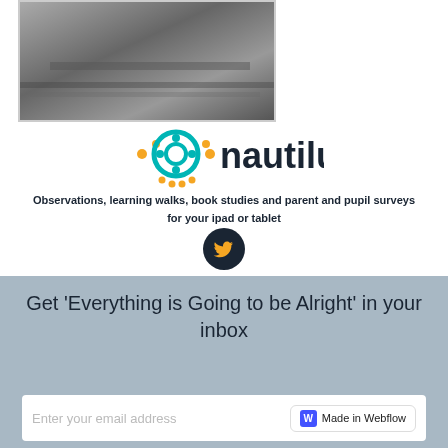[Figure (photo): Black and white photo, partially cropped at top of page, showing a wooden surface with some objects]
[Figure (logo): Nautilus app logo with teal/orange circular icon and 'nautilus' text in dark font]
Observations, learning walks, book studies and parent and pupil surveys for your ipad or tablet
[Figure (logo): Twitter bird icon in a dark circular button]
Get 'Everything is Going to be Alright' in your inbox
Enter your email address
[Figure (logo): Made in Webflow badge with blue W icon]